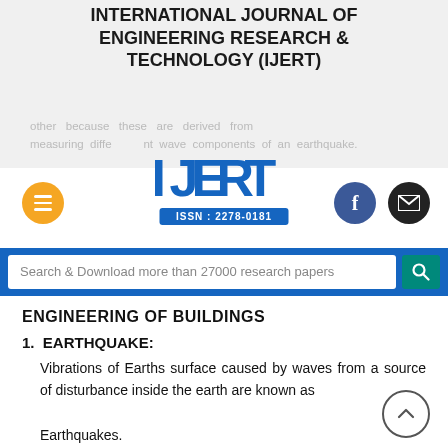INTERNATIONAL JOURNAL OF ENGINEERING RESEARCH & TECHNOLOGY (IJERT)
other because these are derived from measuring different wave components of an earthquake.
[Figure (logo): IJERT logo with ISSN: 2278-0181 bar below]
ENGINEERING OF BUILDINGS
1. EARTHQUAKE:
Vibrations of Earths surface caused by waves from a source of disturbance inside the earth are known as

Earthquakes.